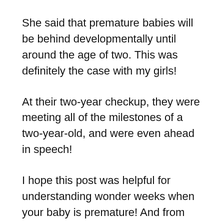She said that premature babies will be behind developmentally until around the age of two. This was definitely the case with my girls!
At their two-year checkup, they were meeting all of the milestones of a two-year-old, and were even ahead in speech!
I hope this post was helpful for understanding wonder weeks when your baby is premature! And from one preemie mama to another, please feel free to reach out if you have any questions!
P.S. Make sure you’re following me on social media to keep up with our family and all the twin